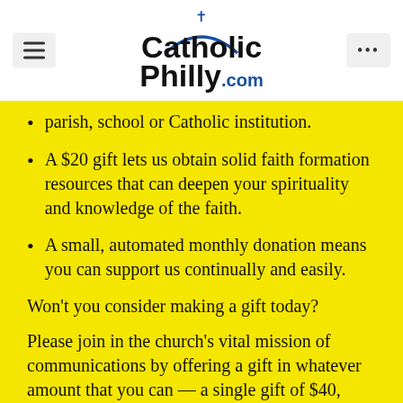CatholicPhilly.com
parish, school or Catholic institution.
A $20 gift lets us obtain solid faith formation resources that can deepen your spirituality and knowledge of the faith.
A small, automated monthly donation means you can support us continually and easily.
Won't you consider making a gift today?
Please join in the church's vital mission of communications by offering a gift in whatever amount that you can — a single gift of $40, $50, $100, or more, or a monthly donation. Your gift will strengthen the fabric of our entire Catholic community and sustain CatholícPhilly.com as your